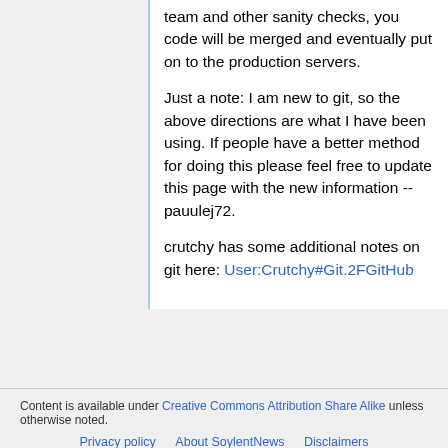team and other sanity checks, you code will be merged and eventually put on to the production servers.
Just a note: I am new to git, so the above directions are what I have been using. If people have a better method for doing this please feel free to update this page with the new information -- pauulej72.
crutchy has some additional notes on git here: User:Crutchy#Git.2FGitHub
Content is available under Creative Commons Attribution Share Alike unless otherwise noted.
Privacy policy | About SoylentNews | Disclaimers